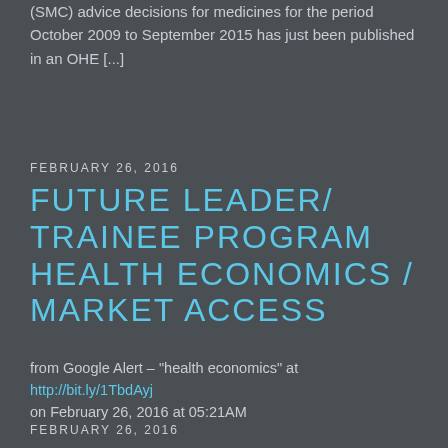(SMC) advice decisions for medicines for the period October 2009 to September 2015 has just been published in an OHE [...]
FEBRUARY 26, 2016
FUTURE LEADER/ TRAINEE PROGRAM HEALTH ECONOMICS / MARKET ACCESS
from Google Alert – "health economics" at http://bit.ly/1TbdAyj on February 26, 2016 at 05:21AM
FEBRUARY 26, 2016